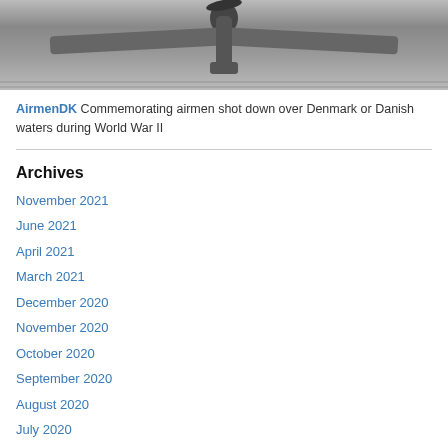[Figure (photo): Black and white photograph of a World War II era aircraft, showing the front/top view with propeller and wings visible against a light background.]
AirmenDK Commemorating airmen shot down over Denmark or Danish waters during World War II
Archives
November 2021
June 2021
April 2021
March 2021
December 2020
November 2020
October 2020
September 2020
August 2020
July 2020